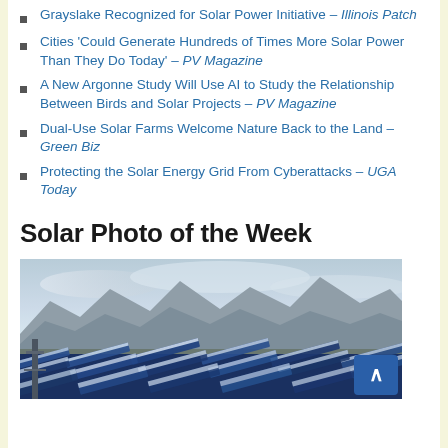Grayslake Recognized for Solar Power Initiative – Illinois Patch
Cities 'Could Generate Hundreds of Times More Solar Power Than They Do Today' – PV Magazine
A New Argonne Study Will Use AI to Study the Relationship Between Birds and Solar Projects – PV Magazine
Dual-Use Solar Farms Welcome Nature Back to the Land – Green Biz
Protecting the Solar Energy Grid From Cyberattacks – UGA Today
Solar Photo of the Week
[Figure (photo): Aerial or ground-level view of large solar panel arrays with mountains and cloudy sky in background, likely a utility-scale solar farm in an arid region.]